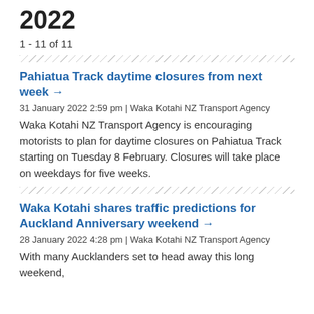2022
1 - 11 of 11
Pahiatua Track daytime closures from next week →
31 January 2022 2:59 pm | Waka Kotahi NZ Transport Agency
Waka Kotahi NZ Transport Agency is encouraging motorists to plan for daytime closures on Pahiatua Track starting on Tuesday 8 February. Closures will take place on weekdays for five weeks.
Waka Kotahi shares traffic predictions for Auckland Anniversary weekend →
28 January 2022 4:28 pm | Waka Kotahi NZ Transport Agency
With many Aucklanders set to head away this long weekend,